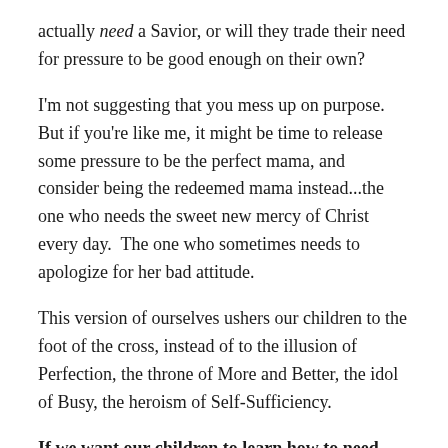actually need a Savior, or will they trade their need for pressure to be good enough on their own?
I'm not suggesting that you mess up on purpose.  But if you're like me, it might be time to release some pressure to be the perfect mama, and consider being the redeemed mama instead...the one who needs the sweet new mercy of Christ every day.  The one who sometimes needs to apologize for her bad attitude.
This version of ourselves ushers our children to the foot of the cross, instead of to the illusion of Perfection, the throne of More and Better, the idol of Busy, the heroism of Self-Sufficiency.
If we want our children to learn how to need Jesus, we